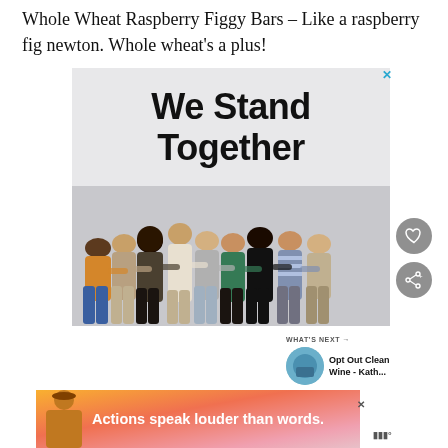Whole Wheat Raspberry Figgy Bars – Like a raspberry fig newton. Whole wheat's a plus!
[Figure (photo): Advertisement showing a group of diverse people standing together with arms around each other, viewed from behind, with bold text 'We Stand Together' overlaid on the upper portion of the image.]
[Figure (photo): Bottom banner advertisement with text 'Actions speak louder than words.' on a colorful gradient background with a person figure on the left.]